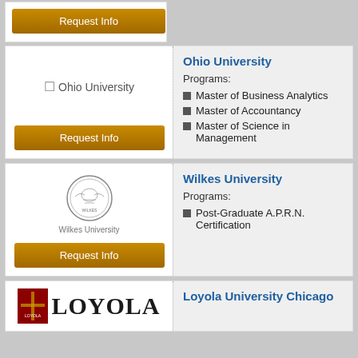[Figure (other): Partial orange Request Info button from previous card (cropped at top)]
[Figure (logo): Ohio University broken image placeholder with text 'Ohio University']
Ohio University
Programs:
Master of Business Analytics
Master of Accountancy
Master of Science in Management
[Figure (logo): Wilkes University circular seal logo with text 'Wilkes University' below]
Wilkes University
Programs:
Post-Graduate A.P.R.N. Certification
[Figure (logo): Loyola University Chicago logo with badge and LOYOLA wordmark]
Loyola University Chicago